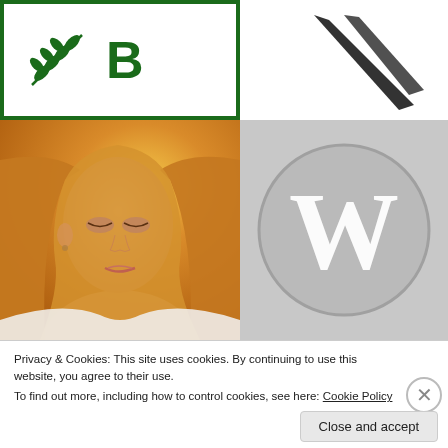[Figure (logo): Green bordered logo with leaf/olive branch icon and bold green letter B]
[Figure (illustration): Black scissors or tweezers on white background, top right]
[Figure (photo): Portrait photo of a young woman with long red/blonde hair, eyes downcast, soft focus warm tones]
[Figure (logo): WordPress logo - white W in circle on grey background]
[Figure (photo): Partially visible dark image at bottom left]
[Figure (photo): Partially visible image at bottom right]
Privacy & Cookies: This site uses cookies. By continuing to use this website, you agree to their use.
To find out more, including how to control cookies, see here: Cookie Policy
Close and accept